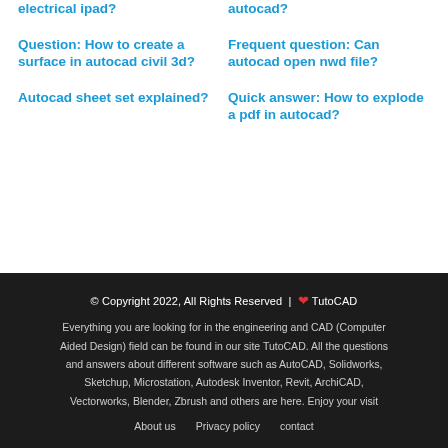electrical ipad?
autocad?
Question: How to create a surface in autocad civil 3d?
Frequent question: Can autocad open nwd file?
Autocad sheet set explained?
Quick answer: How to explode a pdf in autocad?
© Copyright 2022, All Rights Reserved | ❤ TutoCAD
Everything you are looking for in the engineering and CAD (Computer Aided Design) field can be found in our site TutoCAD. All the questions and answers about different software such as AutoCAD, Solidworks, Sketchup, Microstation, Autodesk Inventor, Revit, ArchiCAD, Vectorworks, Blender, Zbrush and others are here. Enjoy your visit
About us  Privacy policy  contact